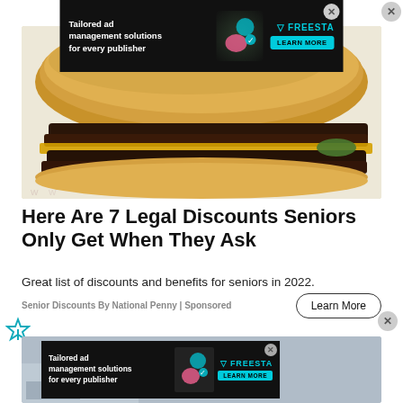[Figure (screenshot): Ad banner: Tailored ad management solutions for every publisher – Freestar, Learn More]
[Figure (photo): Photo of a fast food hamburger with double patties and cheese on wrapper paper]
Here Are 7 Legal Discounts Seniors Only Get When They Ask
Great list of discounts and benefits for seniors in 2022.
Senior Discounts By National Penny | Sponsored
[Figure (screenshot): Bottom ad banner: Tailored ad management solutions for every publisher – Freestar, Learn More]